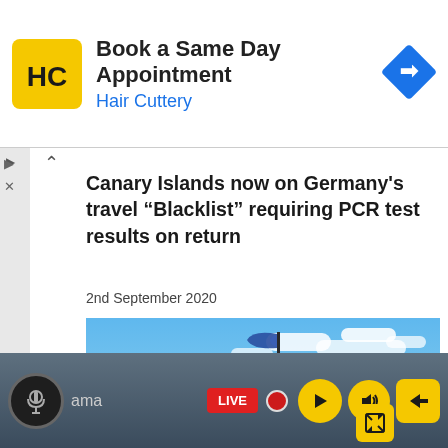[Figure (screenshot): Hair Cuttery advertisement banner with logo, text 'Book a Same Day Appointment', 'Hair Cuttery', and navigation icon]
Canary Islands now on Germany's travel “Blacklist” requiring PCR test results on return
2nd September 2020
[Figure (photo): Beach scene with blue sky, white clouds, dark blue sea, blue flag on a pole, person silhouette, and sandy shore]
[Figure (screenshot): Media player bar with microphone icon, 'ama' text, LIVE badge, red dot, play button, volume button, exit button, and expand button on dark gray background]